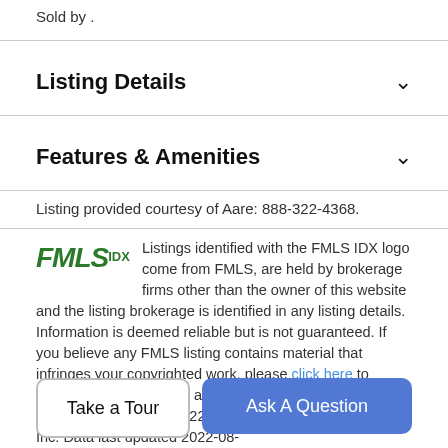Sold by .
Listing Details
Features & Amenities
Listing provided courtesy of Aare: 888-322-4368.
Listings identified with the FMLS IDX logo come from FMLS, are held by brokerage firms other than the owner of this website and the listing brokerage is identified in any listing details. Information is deemed reliable but is not guaranteed. If you believe any FMLS listing contains material that infringes your copyrighted work, please click here to review our DMCA policy and learn how to submit a takedown request. © 2022 First Multiple Listing Service, Inc. Data last updated 2022-08-
Take a Tour
Ask A Question